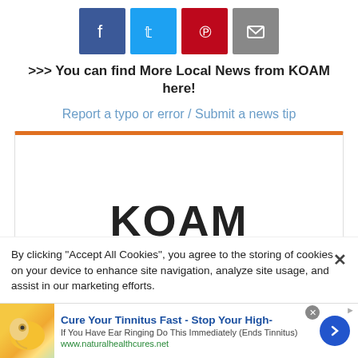[Figure (infographic): Row of four social media share buttons: Facebook (blue), Twitter (cyan), Pinterest (red), Email (gray)]
>>> You can find More Local News from KOAM here!
Report a typo or error / Submit a news tip
[Figure (infographic): KOAM TV station card widget with orange top border and large KOAM logo text partially visible]
By clicking “Accept All Cookies”, you agree to the storing of cookies on your device to enhance site navigation, analyze site usage, and assist in our marketing efforts.
[Figure (infographic): Advertisement banner: Cure Your Tinnitus Fast - Stop Your High- | If You Have Ear Ringing Do This Immediately (Ends Tinnitus) | www.naturalhealthcures.net]